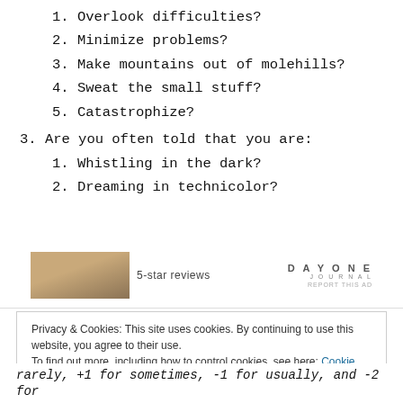1. Overlook difficulties?
2. Minimize problems?
3. Make mountains out of molehills?
4. Sweat the small stuff?
5. Catastrophize?
3. Are you often told that you are:
1. Whistling in the dark?
2. Dreaming in technicolor?
[Figure (other): Advertisement banner with an image of a person, text '5-star reviews', and 'DAY ONE JOURNAL' logo with 'REPORT THIS AD' link]
Privacy & Cookies: This site uses cookies. By continuing to use this website, you agree to their use.
To find out more, including how to control cookies, see here: Cookie Policy
rarely, +1 for sometimes, -1 for usually, and -2 for